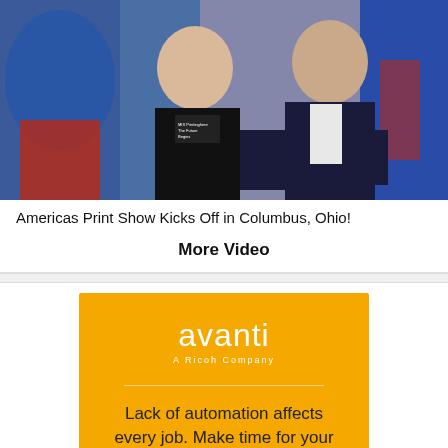[Figure (photo): Two men posing together at what appears to be a trade show or event, colorful background with graphics behind them. Left man wearing black polo shirt, right man in dark suit.]
Americas Print Show Kicks Off in Columbus, Ohio!
More Video
[Figure (illustration): Avanti (A Ricoh Company) advertisement on yellow/gold background. Shows the Avanti logo in white text, a horizontal divider, and tagline text 'Lack of automation affects every job. Make time for your MIS software health check and']